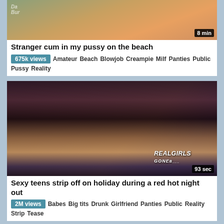[Figure (screenshot): Video thumbnail for beach video, partial view, duration badge '8 min']
Stranger cum in my pussy on the beach
675k views  Amateur  Beach  Blowjob  Creampie  Milf  Panties  Public  Pussy  Reality
[Figure (screenshot): Video thumbnail for nightclub party video with REALGIRLS GONE badge, duration '93 sec']
Sexy teens strip off on holiday during a red hot night out
2M views  Babes  Big tits  Drunk  Girlfriend  Panties  Public  Reality  Strip  Tease
[Figure (screenshot): Partial video thumbnail, third video card, partially visible]